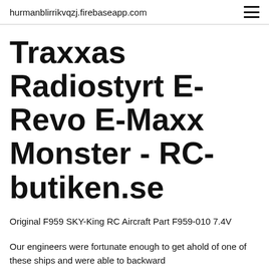hurmanblirrikvqzj.firebaseapp.com
Traxxas Radiostyrt E-Revo E-Maxx Monster - RC-butiken.se
Original F959 SKY-King RC Aircraft Part F959-010 7.4V
Our engineers were fortunate enough to get ahold of one of these ships and were able to backward